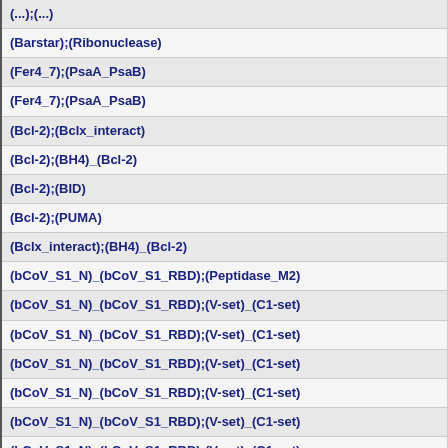| (...)(...) |
| (Barstar);(Ribonuclease) |
| (Fer4_7);(PsaA_PsaB) |
| (Fer4_7);(PsaA_PsaB) |
| (Bcl-2);(Bclx_interact) |
| (Bcl-2);(BH4)_(Bcl-2) |
| (Bcl-2);(BID) |
| (Bcl-2);(PUMA) |
| (Bclx_interact);(BH4)_(Bcl-2) |
| (bCoV_S1_N)_(bCoV_S1_RBD);(Peptidase_M2) |
| (bCoV_S1_N)_(bCoV_S1_RBD);(V-set)_(C1-set) |
| (bCoV_S1_N)_(bCoV_S1_RBD);(V-set)_(C1-set) |
| (bCoV_S1_N)_(bCoV_S1_RBD);(V-set)_(C1-set) |
| (bCoV_S1_N)_(bCoV_S1_RBD);(V-set)_(C1-set) |
| (bCoV_S1_N)_(bCoV_S1_RBD);(V-set)_(C1-set) |
| (bCoV_S1_N)_(bCoV_S1_RBD);(V-set)_(C1-set) |
| (bCoV_S1_N)_(bCoV_S1_RBD);(V-set)_(C1-set) |
| (bCoV_S1_N)_(bCoV_S1_RBD);(V-set)_(C1-set) |
| (bCoV_S1_N)_(bCoV_S1_RBD);(V-set)_(C1-set) |
| (bCoV_S1_N)_(bCoV_S1_RBD);(V-set)_(C1-set) |
| (bCoV_S1_N)_(bCoV_S1_RBD);(V-set)_(C1-set) |
| (bCoV_S1_N)_(bCoV_S1_RBD);(V-set)_(C1-set) |
| (V-set)_(C1-set);(V-set)_(C1-set)_(C1-set)_(C1-set) |
| (bCoV_S1_N)_(bCoV_S1_RBD)_(CoV_S1_C);(V-set)_(C1-set) |
| (bCoV_S1_N)_(bCoV_S1_RBD)_(CoV_S1_C);(V-set)_(C1-set) |
| (bCoV_S1_N)_(bCoV_S1_RBD)_(CoV_S1_C);(V-set)_(C1-set) |
| (bCoV_S1_N)_(bCoV_S1_RBD)_(CoV_S1_C);(V-set)_(C1-set) |